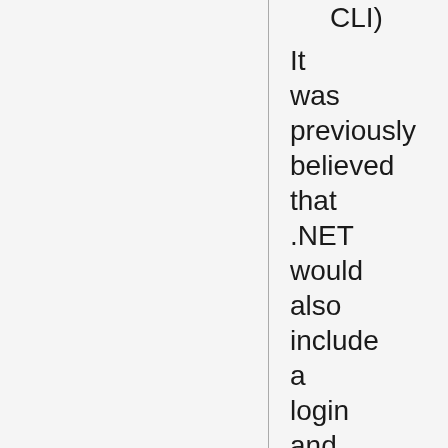CLI) It was previously believed that .NET would also include a login and authentication system